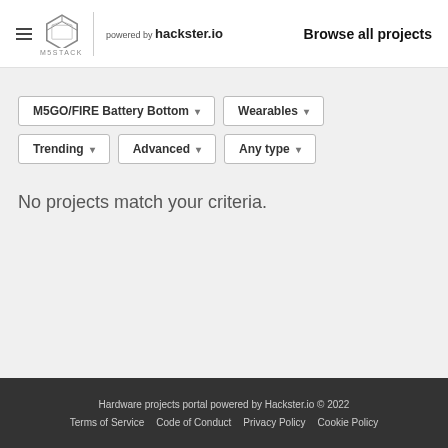M5STACK powered by hackster.io — Browse all projects
M5GO/FIRE Battery Bottom ▾
Wearables ▾
Trending ▾
Advanced ▾
Any type ▾
No projects match your criteria.
Hardware projects portal powered by Hackster.io © 2022
Terms of Service    Code of Conduct    Privacy Policy    Cookie Policy